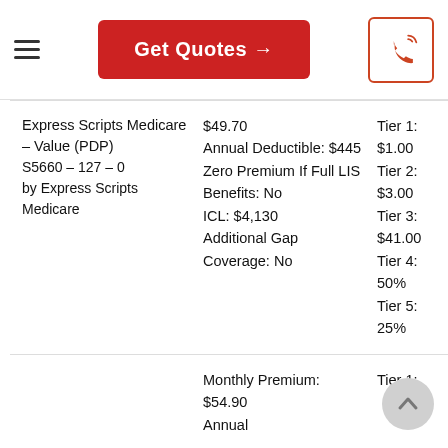Get Quotes →
| Plan | Monthly Premium / Details | Cost Sharing |
| --- | --- | --- |
| Express Scripts Medicare – Value (PDP)
S5660 – 127 – 0
by Express Scripts Medicare | $49.70
Annual Deductible: $445
Zero Premium If Full LIS Benefits: No
ICL: $4,130
Additional Gap Coverage: No | Tier 1: $1.00
Tier 2: $3.00
Tier 3: $41.00
Tier 4: 50%
Tier 5: 25% |
|  | Monthly Premium: $54.90
Annual | Tier 1: |